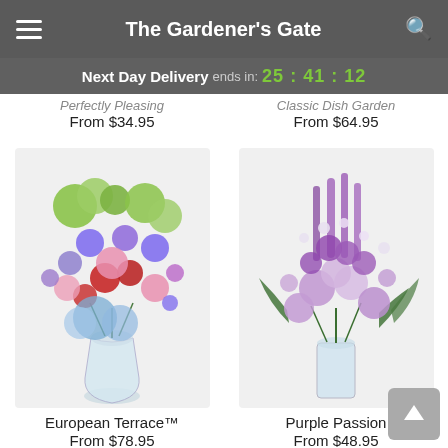The Gardener's Gate
Next Day Delivery ends in: 25:41:12
Perfectly Pleasing
From $34.95
Classic Dish Garden
From $64.95
[Figure (photo): European Terrace bouquet: mixed purple, pink, red flowers and green hydrangea in a round glass vase]
European Terrace™
From $78.95
[Figure (photo): Purple Passion bouquet: all-purple and lavender flowers in a tall glass vase]
Purple Passion
From $48.95